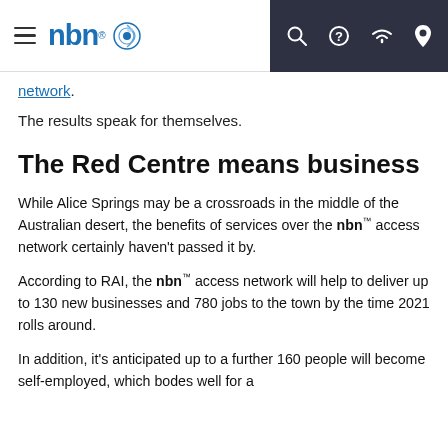nbn® [navigation bar with hamburger menu and icons for search, help, wifi, location]
network.
The results speak for themselves.
The Red Centre means business
While Alice Springs may be a crossroads in the middle of the Australian desert, the benefits of services over the nbn™ access network certainly haven't passed it by.
According to RAI, the nbn™ access network will help to deliver up to 130 new businesses and 780 jobs to the town by the time 2021 rolls around.
In addition, it's anticipated up to a further 160 people will become self-employed, which bodes well for a